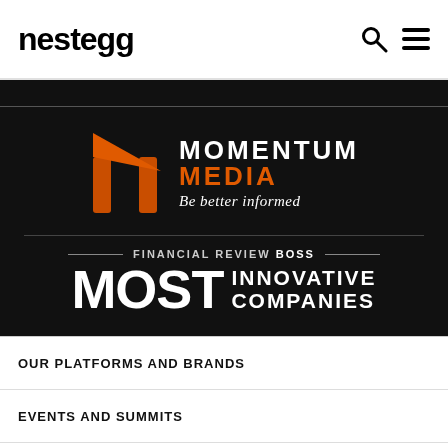nestegg
[Figure (logo): Momentum Media logo with orange stylized M icon, text MOMENTUM MEDIA in white/orange, tagline 'Be better informed' in italic white. Below: Financial Review BOSS Most Innovative Companies award badge.]
OUR PLATFORMS AND BRANDS
EVENTS AND SUMMITS